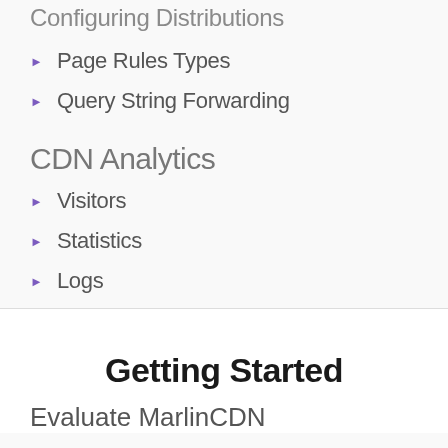Page Rules Types
Query String Forwarding
CDN Analytics
Visitors
Statistics
Logs
Getting Started
Evaluate MarlinCDN